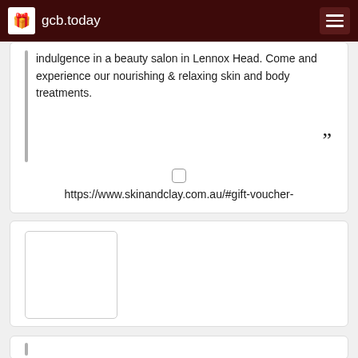gcb.today
indulgence in a beauty salon in Lennox Head. Come and experience our nourishing & relaxing skin and body treatments. ”
https://www.skinandclay.com.au/#gift-voucher-
[Figure (photo): Empty white image placeholder card]
[Figure (other): Partial card at bottom with vertical bar on left side]